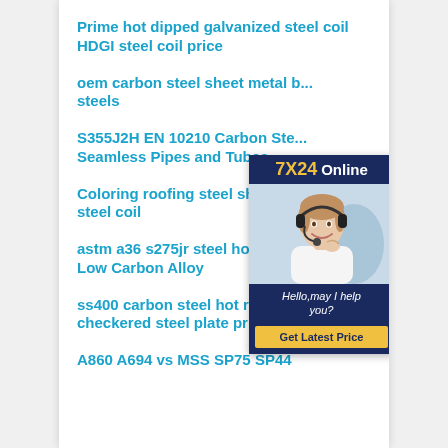Prime hot dipped galvanized steel coil HDGI steel coil price
oem carbon steel sheet metal b... steels
S355J2H EN 10210 Carbon Ste... Seamless Pipes and Tubes
Coloring roofing steel sheet in... steel coil
astm a36 s275jr steel hot rolled coil Low Carbon Alloy
ss400 carbon steel hot rolled checkered steel plate price
A860 A694 vs MSS SP75 SP44
[Figure (infographic): 7X24 Online chat widget with a woman wearing a headset, text 'Hello, may I help you?' and a 'Get Latest Price' button]